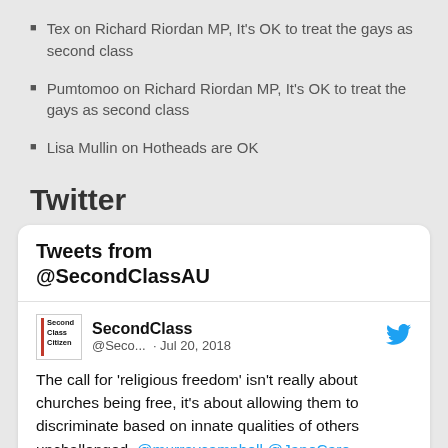Tex on Richard Riordan MP, It's OK to treat the gays as second class
Pumtomoo on Richard Riordan MP, It's OK to treat the gays as second class
Lisa Mullin on Hotheads are OK
Twitter
[Figure (screenshot): Embedded Twitter widget showing tweets from @SecondClassAU. A tweet by SecondClass (@Seco...) dated Jul 20, 2018 reads: The call for 'religious freedom' isn't really about churches being free, it's about allowing them to discriminate based on innate qualities of others unchallenged. @murraycampbell @JaneCaro buff.ly/2uA027U]